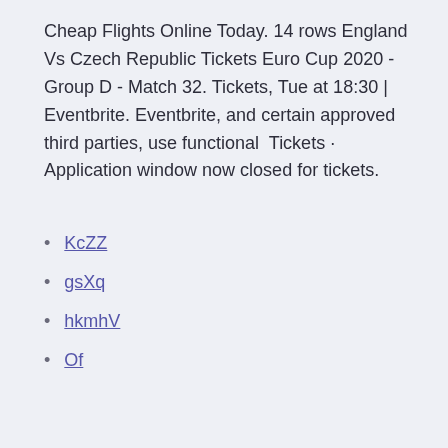Cheap Flights Online Today. 14 rows England Vs Czech Republic Tickets Euro Cup 2020 - Group D - Match 32. Tickets, Tue at 18:30 | Eventbrite. Eventbrite, and certain approved third parties, use functional  Tickets · Application window now closed for tickets.
KcZZ
gsXq
hkmhV
Of